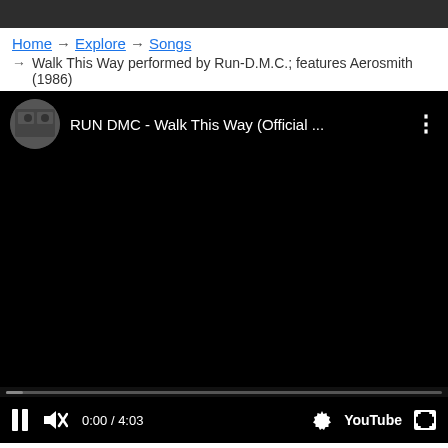Home → Explore → Songs → Walk This Way performed by Run-D.M.C.; features Aerosmith (1986)
[Figure (screenshot): Embedded YouTube video player showing 'RUN DMC - Walk This Way (Official ...' with black video area, progress bar at start (0:00 / 4:03), pause button, mute button, settings gear, YouTube logo, and fullscreen button. Below the player is a green 'Unmute' button.]
Walk This Way performed by Run-D.M.C.;